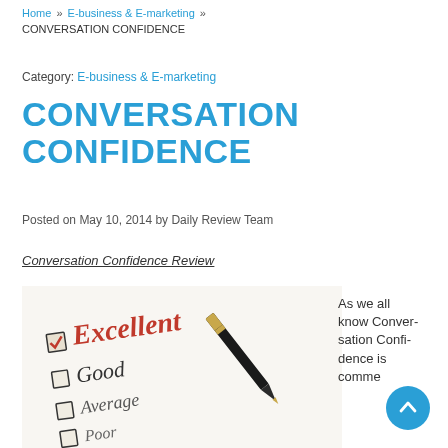Home » E-business & E-marketing » CONVERSATION CONFIDENCE
Category: E-business & E-marketing
CONVERSATION CONFIDENCE
Posted on May 10, 2014 by Daily Review Team
Conversation Confidence Review
[Figure (photo): A checklist with 'Excellent' checked in red, with 'Good', 'Average', 'Poor' options and a black pen resting on it.]
As we all know Conversation Confidence is comme